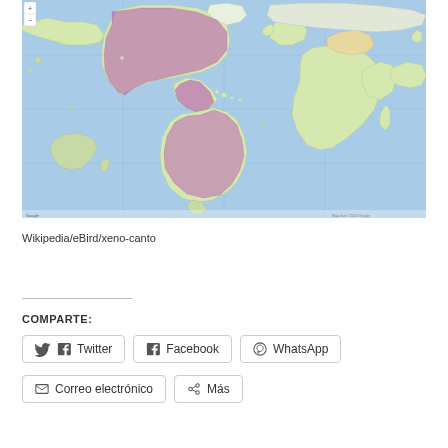[Figure (map): World map showing bird species distribution highlighted in purple/magenta across North America, Central America, and South America (Americas focus), with standard geographic map coloring (blue oceans, green/tan landmasses). Google Maps style with zoom controls visible top-left.]
Wikipedia/eBird/xeno-canto
COMPARTE:
Twitter
Facebook
WhatsApp
Correo electrónico
Más